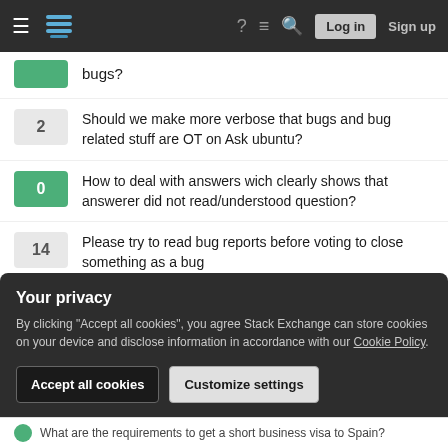Stack Exchange navigation bar with hamburger menu, logo, icons (help, chat, search), Log in, Sign up
bugs?
2 — Should we make more verbose that bugs and bug related stuff are OT on Ask ubuntu?
0 — How to deal with answers wich clearly shows that answerer did not read/understood question?
14 — Please try to read bug reports before voting to close something as a bug
1 — Questions about 14.04.1 hashes
3 — What should we do with a question discovered to be related to a bug with a fix?
Your privacy
By clicking "Accept all cookies", you agree Stack Exchange can store cookies on your device and disclose information in accordance with our Cookie Policy.
Accept all cookies   Customize settings
What are the requirements to get a short business visa to Spain?